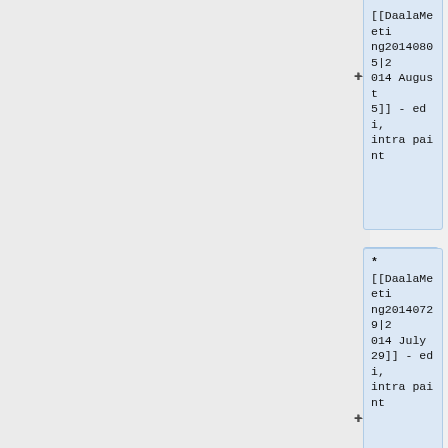* [[DaalaMeeting20140805|2014 August 5]] - edi, intra paint
* [[DaalaMeeting20140729|2014 July 29]] - edi, intra paint
* [[DaalaMeeting20140722|2014 July 22]] - demo progress, video results, edi, deringing,